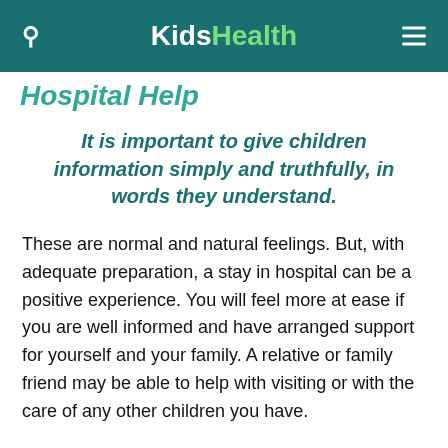KidsHealth
Hospital Help
It is important to give children information simply and truthfully, in words they understand.
These are normal and natural feelings. But, with adequate preparation, a stay in hospital can be a positive experience. You will feel more at ease if you are well informed and have arranged support for yourself and your family. A relative or family friend may be able to help with visiting or with the care of any other children you have.